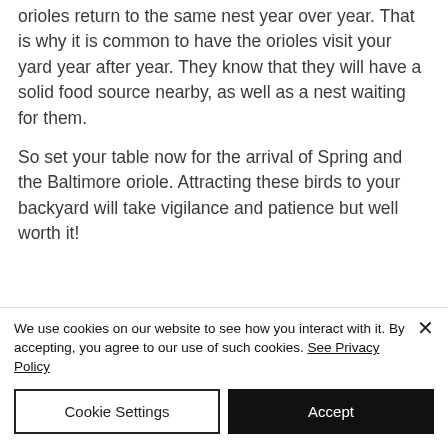orioles return to the same nest year over year. That is why it is common to have the orioles visit your yard year after year. They know that they will have a solid food source nearby, as well as a nest waiting for them.
So set your table now for the arrival of Spring and the Baltimore oriole. Attracting these birds to your backyard will take vigilance and patience but well worth it!
We use cookies on our website to see how you interact with it. By accepting, you agree to our use of such cookies. See Privacy Policy